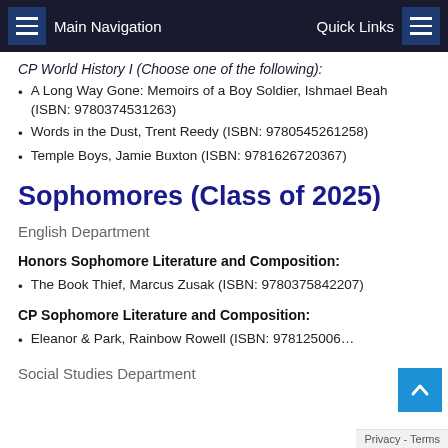Main Navigation | Quick Links
CP World History I (Choose one of the following):
A Long Way Gone: Memoirs of a Boy Soldier, Ishmael Beah (ISBN: 9780374531263)
Words in the Dust, Trent Reedy (ISBN: 9780545261258)
Temple Boys, Jamie Buxton (ISBN: 9781626720367)
Sophomores (Class of 2025)
English Department
Honors Sophomore Literature and Composition:
The Book Thief, Marcus Zusak (ISBN: 9780375842207)
CP Sophomore Literature and Composition:
Eleanor & Park, Rainbow Rowell (ISBN: 978125006...
Social Studies Department